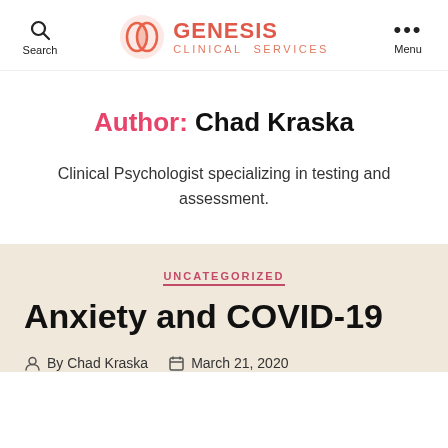Search | GENESIS CLINICAL SERVICES | Menu
Author: Chad Kraska
Clinical Psychologist specializing in testing and assessment.
UNCATEGORIZED
Anxiety and COVID-19
By Chad Kraska   March 21, 2020